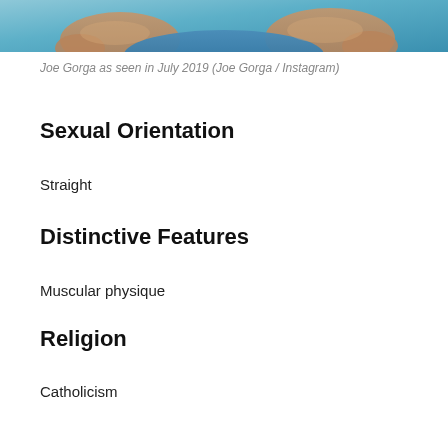[Figure (photo): Cropped photo of Joe Gorga, showing arms/shoulders area with blue background, as seen in July 2019]
Joe Gorga as seen in July 2019 (Joe Gorga / Instagram)
Sexual Orientation
Straight
Distinctive Features
Muscular physique
Religion
Catholicism